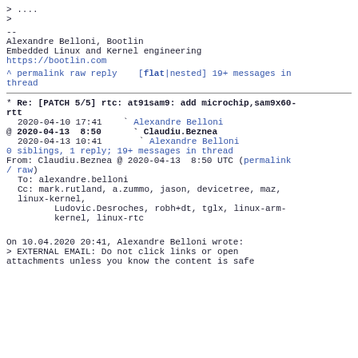> ....
>
--
Alexandre Belloni, Bootlin
Embedded Linux and Kernel engineering
https://bootlin.com
^ permalink raw reply [flat|nested] 19+ messages in thread
* Re: [PATCH 5/5] rtc: at91sam9: add microchip,sam9x60-rtt
  2020-04-10 17:41   ` Alexandre Belloni
@ 2020-04-13  8:50     ` Claudiu.Beznea
  2020-04-13 10:41       ` Alexandre Belloni
  0 siblings, 1 reply; 19+ messages in thread
From: Claudiu.Beznea @ 2020-04-13  8:50 UTC (permalink / raw)
  To: alexandre.belloni
  Cc: mark.rutland, a.zummo, jason, devicetree, maz, linux-kernel,
      Ludovic.Desroches, robh+dt, tglx, linux-arm-kernel, linux-rtc
On 10.04.2020 20:41, Alexandre Belloni wrote:
> EXTERNAL EMAIL: Do not click links or open
attachments unless you know the content is safe